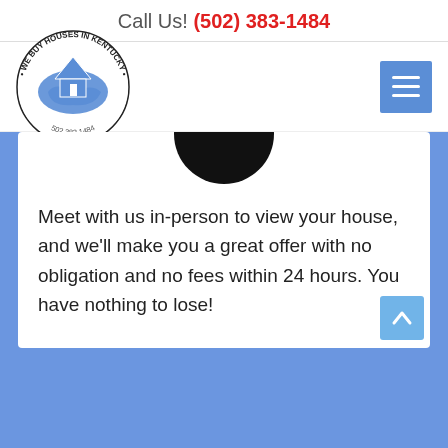Call Us! (502) 383-1484
[Figure (logo): We Buy Houses in Kentucky circular logo with blue Kentucky state shape and house illustration, phone number 502.383.1484]
[Figure (illustration): Menu hamburger icon button (blue square with three white horizontal lines)]
[Figure (illustration): Partial black circle icon visible at top of white card]
Meet with us in-person to view your house, and we'll make you a great offer with no obligation and no fees within 24 hours. You have nothing to lose!